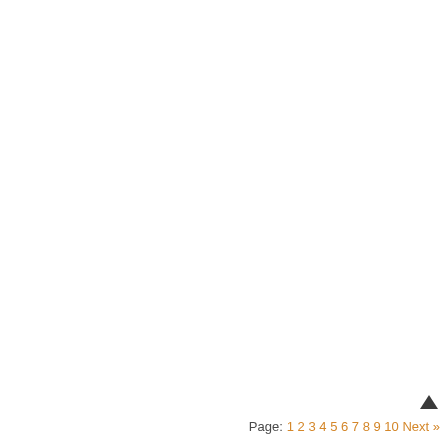▲ Page: 1 2 3 4 5 6 7 8 9 10 Next »